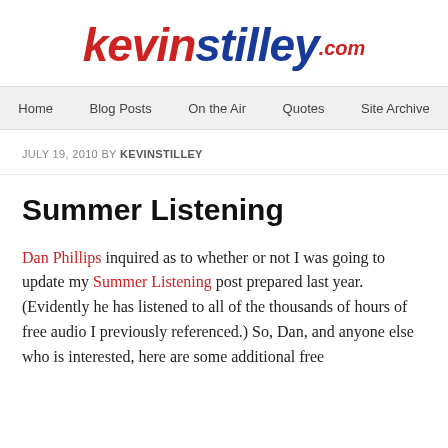[Figure (logo): kevinstilley.com logo in red and blue italic bold text]
Home | Blog Posts | On the Air | Quotes | Site Archive
JULY 19, 2010 BY KEVINSTILLEY
Summer Listening
Dan Phillips inquired as to whether or not I was going to update my Summer Listening post prepared last year. (Evidently he has listened to all of the thousands of hours of free audio I previously referenced.) So, Dan, and anyone else who is interested, here are some additional free